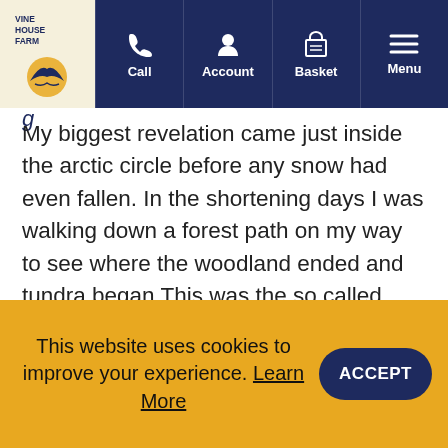Vine House Farm — Call, Account, Basket, Menu navigation
My biggest revelation came just inside the arctic circle before any snow had even fallen. In the shortening days I was walking down a forest path on my way to see where the woodland ended and tundra began This was the so called 'tree line'. Further north on the open tundra, there is not enough strength in the sun, even in summer, to allow trees to grow and their roots cannot penetrate the frozen soil. The forest
This website uses cookies to improve your experience. Learn More
ACCEPT